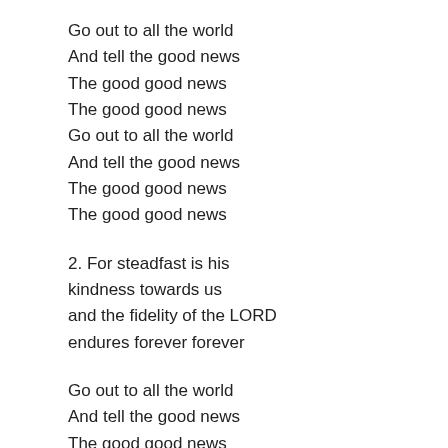Go out to all the world
And tell the good news
The good good news
The good good news
Go out to all the world
And tell the good news
The good good news
The good good news
2. For steadfast is his
kindness towards us
and the fidelity of the LORD
endures forever forever
Go out to all the world
And tell the good news
The good good news